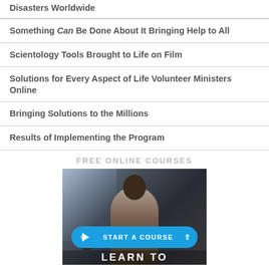Disasters Worldwide
Something Can Be Done About It Bringing Help to All
Scientology Tools Brought to Life on Film
Solutions for Every Aspect of Life Volunteer Ministers Online
Bringing Solutions to the Millions
Results of Implementing the Program
FREE ONLINE COURSES
[Figure (photo): A man presenting or speaking, with a blue 'START A COURSE' button overlay and 'LEARN TO' text at the bottom]